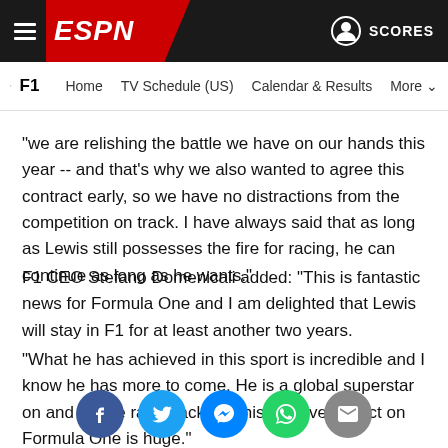ESPN - F1 Navigation Header
we are relishing the battle we have on our hands this year -- and that's why we also wanted to agree this contract early, so we have no distractions from the competition on track. I have always said that as long as Lewis still possesses the fire for racing, he can continue as long as he wants."
F1 CEO Stefano Domenicali added: "This is fantastic news for Formula One and I am delighted that Lewis will stay in F1 for at least another two years.
"What he has achieved in this sport is incredible and I know he has more to come. He is a global superstar on and off the race track and his positive impact on Formula One is huge."
[Figure (infographic): Social sharing icons row: Facebook (blue circle), Twitter (light blue circle), Messenger (blue circle), WhatsApp (green circle), Email (grey circle)]